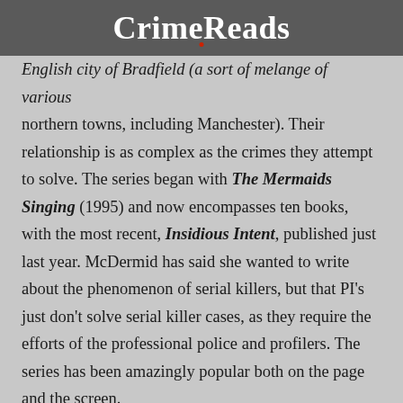CrimeReads
English city of Bradfield (a sort of melange of various northern towns, including Manchester). Their relationship is as complex as the crimes they attempt to solve. The series began with The Mermaids Singing (1995) and now encompasses ten books, with the most recent, Insidious Intent, published just last year. McDermid has said she wanted to write about the phenomenon of serial killers, but that PI’s just don’t solve serial killer cases, as they require the efforts of the professional police and profilers. The series has been amazingly popular both on the page and the screen.
A few more Manchester-set crime reads: